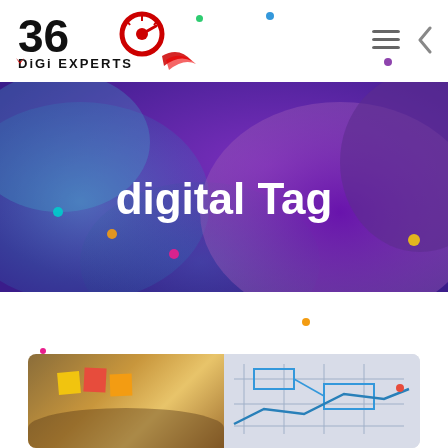[Figure (logo): 360 Digi Experts logo with circular speedometer icon and checkmark]
digital Tag
[Figure (photo): Two-panel image: left panel shows person holding colorful sticky notes, right panel shows engineering/blueprint diagram on a wall]